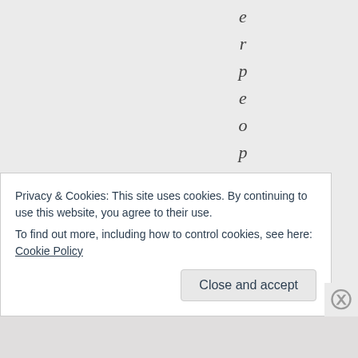[Figure (other): Vertically stacked individual letters spelling 'eople, b' (part of a word cut off), rendered in italic serif font on a light grey background, one character per line]
Privacy & Cookies: This site uses cookies. By continuing to use this website, you agree to their use.
To find out more, including how to control cookies, see here: Cookie Policy